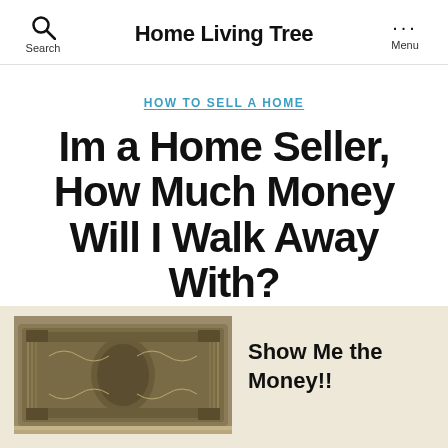Home Living Tree
HOW TO SELL A HOME
Im a Home Seller, How Much Money Will I Walk Away With?
By Diego Loya   No Comments
[Figure (photo): Close-up image of US dollar bills]
Show Me the Money!!